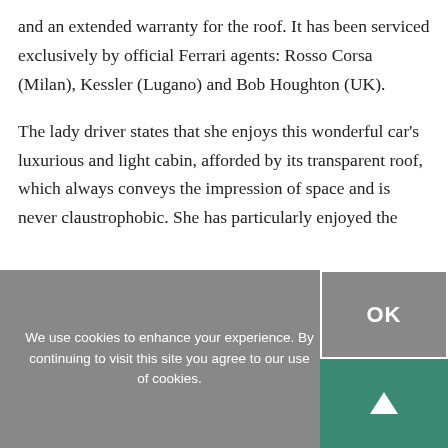and an extended warranty for the roof. It has been serviced exclusively by official Ferrari agents: Rosso Corsa (Milan), Kessler (Lugano) and Bob Houghton (UK).
The lady driver states that she enjoys this wonderful car's luxurious and light cabin, afforded by its transparent roof, which always conveys the impression of space and is never claustrophobic. She has particularly enjoyed the
We use cookies to enhance your experience. By continuing to visit this site you agree to our use of cookies.